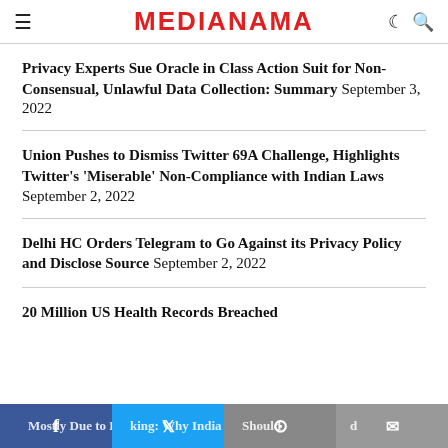MEDIANAMA
Privacy Experts Sue Oracle in Class Action Suit for Non-Consensual, Unlawful Data Collection: Summary September 3, 2022
Union Pushes to Dismiss Twitter 69A Challenge, Highlights Twitter's 'Miserable' Non-Compliance with Indian Laws September 2, 2022
Delhi HC Orders Telegram to Go Against its Privacy Policy and Disclose Source September 2, 2022
20 Million US Health Records Breached Mostly Due to Hacking: Why India Should...